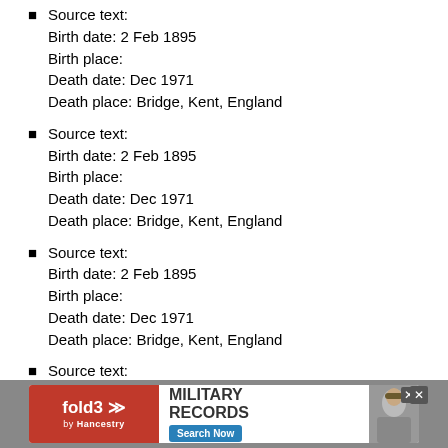Source text:
Birth date: 2 Feb 1895
Birth place:
Death date: Dec 1971
Death place: Bridge, Kent, England
Source text:
Birth date: 2 Feb 1895
Birth place:
Death date: Dec 1971
Death place: Bridge, Kent, England
Source text:
Birth date: 2 Feb 1895
Birth place:
Death date: Dec 1971
Death place: Bridge, Kent, England
Source text:
Birth date: abt 1875
Birth place:
Death date: Jun 1953
Death place: Thanet, Kent, England
Source text:
Birth date: abt 1875
Birth place: